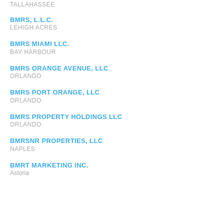TALLAHASSEE
BMRS, L.L.C.
LEHIGH ACRES
BMRS MIAMI LLC.
BAY HARBOUR
BMRS ORANGE AVENUE, LLC
ORLANDO
BMRS PORT ORANGE, LLC
ORLANDO
BMRS PROPERTY HOLDINGS LLC
ORLANDO
BMRSNR PROPERTIES, LLC
NAPLES
BMRT MARKETING INC.
Astoria